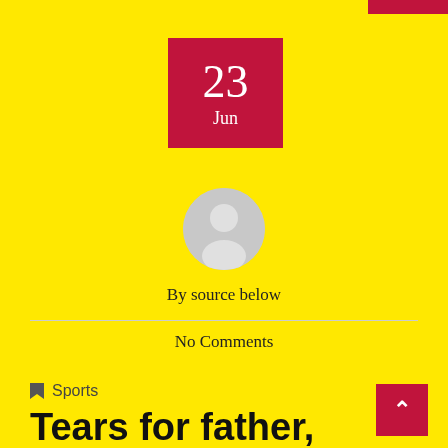[Figure (other): Date box with crimson/dark red background showing '23' in large white serif numerals and 'Jun' below in white]
[Figure (other): Circular grey avatar/user placeholder icon]
By source below
No Comments
Sports
Tears for father, thigh-slap for the singer Sidhu Moosewala